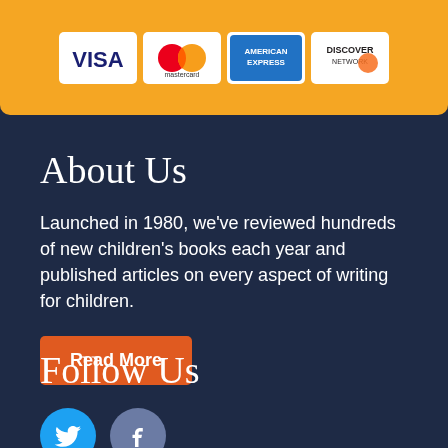[Figure (other): Orange banner showing credit card logos: Visa, Mastercard, American Express, Discover Network]
About Us
Launched in 1980, we've reviewed hundreds of new children's books each year and published articles on every aspect of writing for children.
Read More
Follow Us
[Figure (other): Social media icons: Twitter (blue circle) and Facebook (gray-blue circle)]